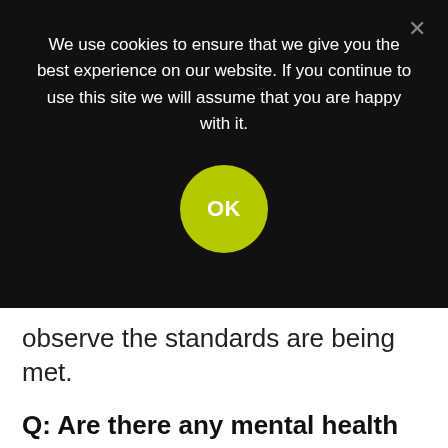We use cookies to ensure that we give you the best experience on our website. If you continue to use this site we will assume that you are happy with it.
OK
observe the standards are being met.
Q: Are there any mental health groups or processes to support those who are anxious about returning to work?
Paul: Unipres offers support through a service provided by an organisation called Talk Works. The mental health service is available to all Unipres UK employees, offering ongoing stress guidance,